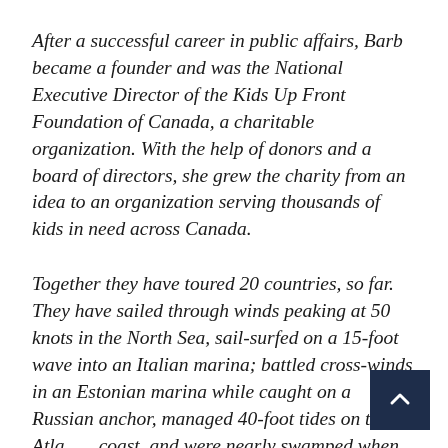After a successful career in public affairs, Barb became a founder and was the National Executive Director of the Kids Up Front Foundation of Canada, a charitable organization. With the help of donors and a board of directors, she grew the charity from an idea to an organization serving thousands of kids in need across Canada.
Together they have toured 20 countries, so far. They have sailed through winds peaking at 50 knots in the North Sea, sail-surfed on a 15-foot wave into an Italian marina; battled cross-winds in an Estonian marina while caught on a Russian anchor, managed 40-foot tides on the Atlantic coast, and were nearly swamped when stuck in tidal mud in France.